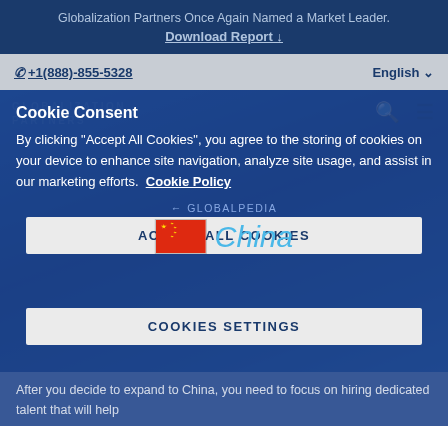Globalization Partners Once Again Named a Market Leader. Download Report ↓
+1(888)-855-5328  English ∨
Cookie Consent
By clicking "Accept All Cookies", you agree to the storing of cookies on your device to enhance site navigation, analyze site usage, and assist in our marketing efforts.  Cookie Policy
← GLOBALPEDIA
ACCEPT ALL COOKIES
[Figure (illustration): Chinese flag icon next to the word 'China' in light blue italic text]
COOKIES SETTINGS
After you decide to expand to China, you need to focus on hiring dedicated talent that will help